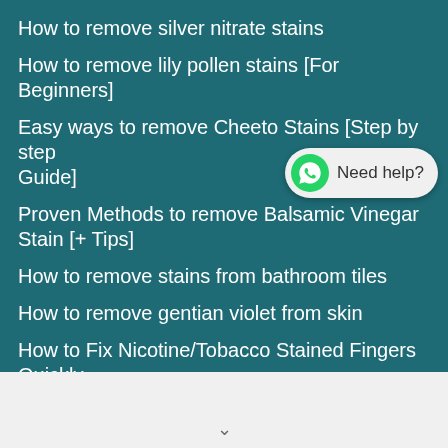How to remove silver nitrate stains
How to remove lily pollen stains [For Beginners]
Easy ways to remove Cheeto Stains [Step by step Guide]
Proven Methods to remove Balsamic Vinegar Stain [+ Tips]
How to remove stains from bathroom tiles
How to remove gentian violet from skin
How to Fix Nicotine/Tobacco Stained Fingers Quickly
How to remove sunscreen stains from plastic
How to remove oil stains from granite